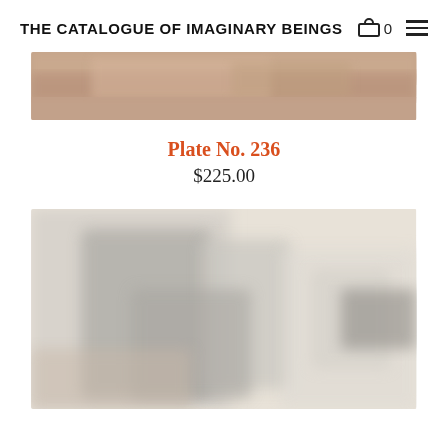THE CATALOGUE OF IMAGINARY BEINGS
[Figure (photo): Blurred/cropped top portion of an image, warm pinkish-brown tones, partially visible face or figure]
Plate No. 236
$225.00
[Figure (photo): Blurred illustration or artwork showing grey humanoid or creature figures against a cream/off-white background]